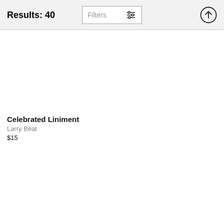Results: 40
Celebrated Liniment
Larry Beat
$15